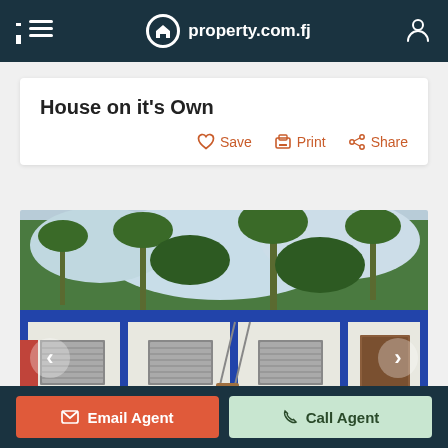≡  property.com.fj  👤
House on it's Own
♡ Save   🖨 Print   ⌘ Share
[Figure (photo): Exterior photo of a single-storey house with blue roof/awning, white walls, louvered windows, and tropical trees in background. Navigation arrows on left and right.]
✉ Email Agent   ☎ Call Agent